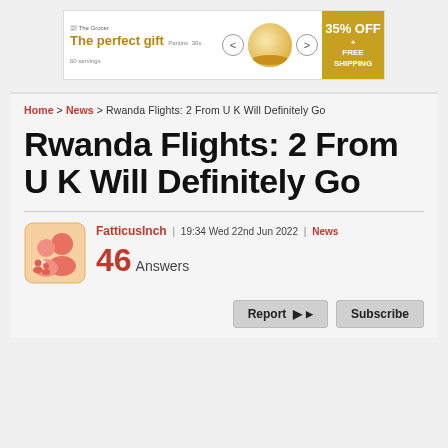[Figure (other): Advertisement banner: 'The perfect gift' with food bowl image and '35% OFF + FREE SHIPPING' offer]
Home > News > Rwanda Flights: 2 From U K Will Definitely Go
Rwanda Flights: 2 From U K Will Definitely Go
FatticusInch | 19:34 Wed 22nd Jun 2022 | News
46 Answers
Report  Subscribe